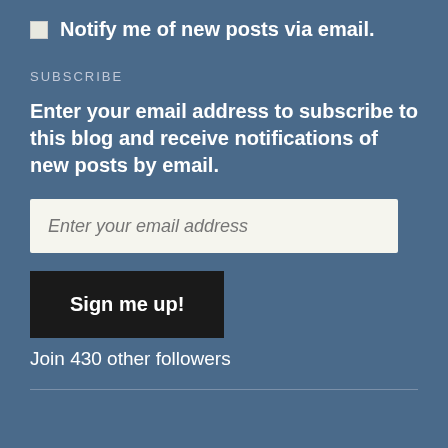Notify me of new posts via email.
SUBSCRIBE
Enter your email address to subscribe to this blog and receive notifications of new posts by email.
Enter your email address
Sign me up!
Join 430 other followers